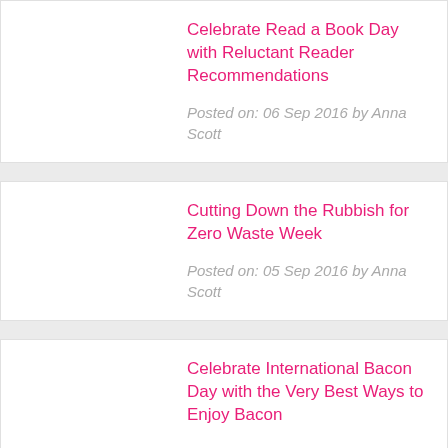Celebrate Read a Book Day with Reluctant Reader Recommendations
Posted on: 06 Sep 2016 by Anna Scott
Cutting Down the Rubbish for Zero Waste Week
Posted on: 05 Sep 2016 by Anna Scott
Celebrate International Bacon Day with the Very Best Ways to Enjoy Bacon